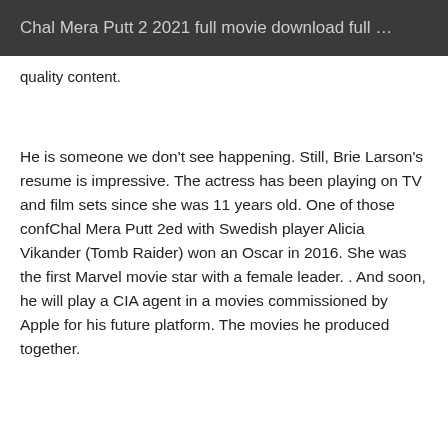Chal Mera Putt 2 2021 full movie download full …
quality content.
He is someone we don't see happening. Still, Brie Larson's resume is impressive. The actress has been playing on TV and film sets since she was 11 years old. One of those confChal Mera Putt 2ed with Swedish player Alicia Vikander (Tomb Raider) won an Oscar in 2016. She was the first Marvel movie star with a female leader. . And soon, he will play a CIA agent in a movies commissioned by Apple for his future platform. The movies he produced together.